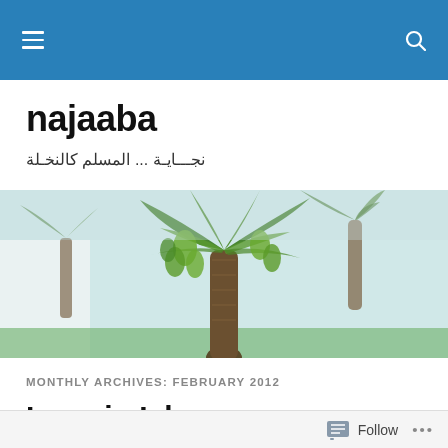najaaba – navigation bar with hamburger menu and search icon
najaaba
نجـــايـة ... المسلم كالنخـلة
[Figure (photo): Photograph of a date palm tree with clusters of dates, additional palm trees visible in background, taken outdoors.]
MONTHLY ARCHIVES: FEBRUARY 2012
Love in Islam
Follow ...